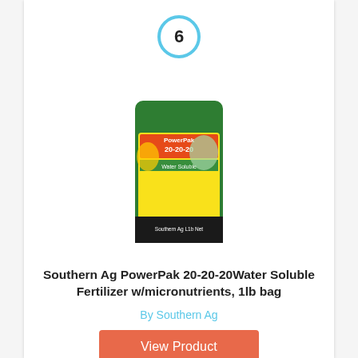[Figure (other): Number 6 in a light blue circle outline]
[Figure (photo): Product image of Southern Ag PowerPak 20-20-20 Water Soluble Fertilizer bag (green bag with yellow label)]
Southern Ag PowerPak 20-20-20Water Soluble Fertilizer w/micronutrients, 1lb bag
By Southern Ag
View Product
$10.97
Prime